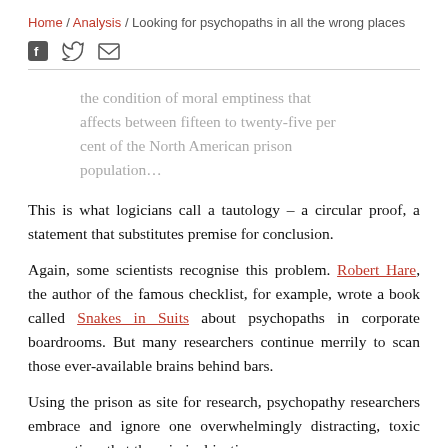Home / Analysis / Looking for psychopaths in all the wrong places
the condition of moral emptiness that affects between fifteen to twenty-five per cent of the North American prison population…
This is what logicians call a tautology – a circular proof, a statement that substitutes premise for conclusion.
Again, some scientists recognise this problem. Robert Hare, the author of the famous checklist, for example, wrote a book called Snakes in Suits about psychopaths in corporate boardrooms. But many researchers continue merrily to scan those ever-available brains behind bars.
Using the prison as site for research, psychopathy researchers embrace and ignore one overwhelmingly distracting, toxic assumption: that the criminal justice